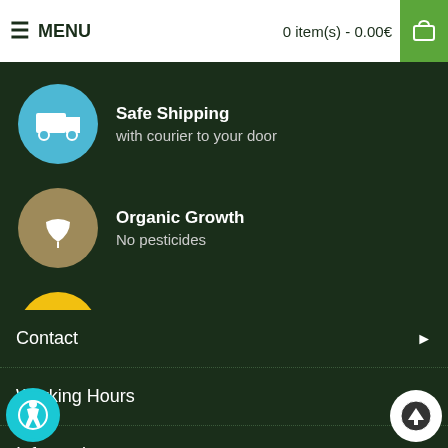MENU | 0 item(s) - 0.00€
Safe Shipping – with courier to your door
Organic Growth – No pesticides
TESTED QUALITY – Certified Content
Contact ▶
Working Hours ▶
Information ▶
Customer Support ▶